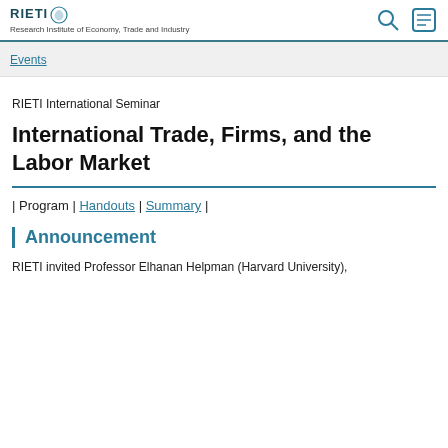RIETI Research Institute of Economy, Trade and Industry
Events
RIETI International Seminar
International Trade, Firms, and the Labor Market
| Program | Handouts | Summary |
Announcement
RIETI invited Professor Elhanan Helpman (Harvard University),